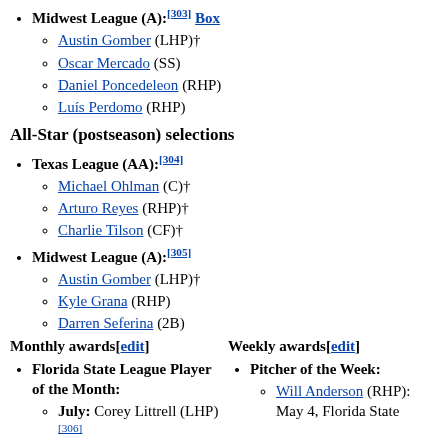Midwest League (A):[303] Box
Austin Gomber (LHP)†
Oscar Mercado (SS)
Daniel Poncedeleon (RHP)
Luís Perdomo (RHP)
All-Star (postseason) selections
Texas League (AA):[304]
Michael Ohlman (C)†
Arturo Reyes (RHP)†
Charlie Tilson (CF)†
Midwest League (A):[305]
Austin Gomber (LHP)†
Kyle Grana (RHP)
Darren Seferina (2B)
Monthly awards[edit]
Weekly awards[edit]
Florida State League Player of the Month:
July: Corey Littrell (LHP)[306]
Pitcher of the Week:
Will Anderson (RHP): May 4, Florida State